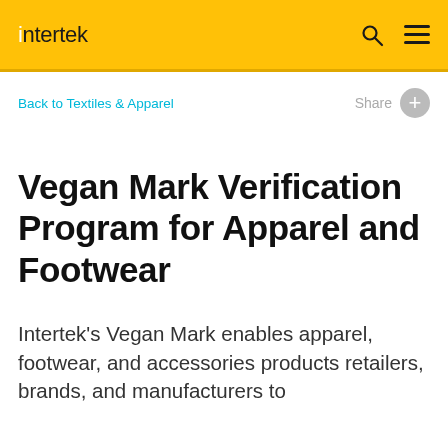intertek
Back to Textiles & Apparel
Share
Vegan Mark Verification Program for Apparel and Footwear
Intertek's Vegan Mark enables apparel, footwear, and accessories products retailers, brands, and manufacturers to